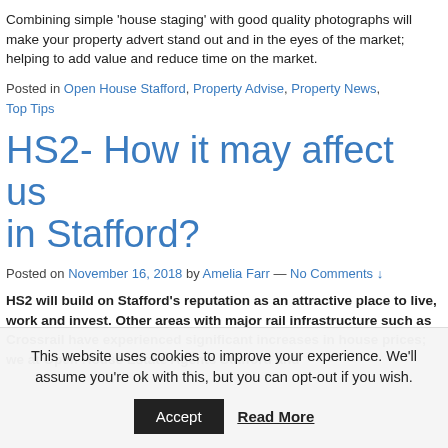Combining simple 'house staging' with good quality photographs will make your property advert stand out and in the eyes of the market; helping to add value and reduce time on the market.
Posted in Open House Stafford, Property Advise, Property News, Top Tips
HS2- How it may affect us in Stafford?
Posted on November 16, 2018 by Amelia Farr — No Comments ↓
HS2 will build on Stafford's reputation as an attractive place to live, work and invest. Other areas with major rail infrastructure such as Crossrail have experienced significant increases in house prices; we at Open House Estate Agents Stafford and
This website uses cookies to improve your experience. We'll assume you're ok with this, but you can opt-out if you wish.
Accept   Read More